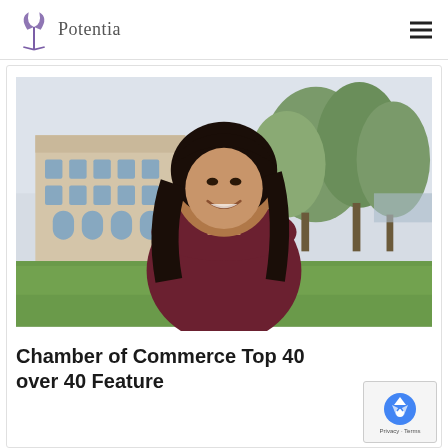Potentia
[Figure (photo): Woman with dark hair smiling outdoors, wearing a dark red/maroon top, with a building and trees in the background]
Chamber of Commerce Top 40 over 40 Feature